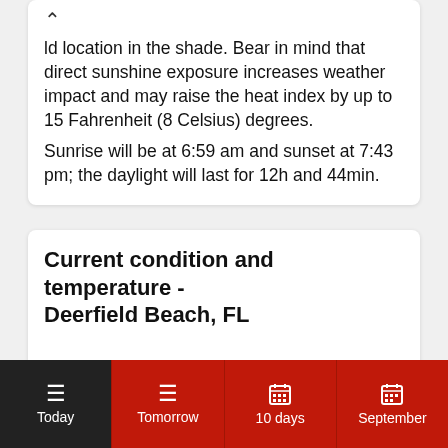ld location in the shade. Bear in mind that direct sunshine exposure increases weather impact and may raise the heat index by up to 15 Fahrenheit (8 Celsius) degrees. Sunrise will be at 6:59 am and sunset at 7:43 pm; the daylight will last for 12h and 44min.
Current condition and temperature - Deerfield Beach, FL
Mostly Cloudy
Today | Tomorrow | 10 days | September